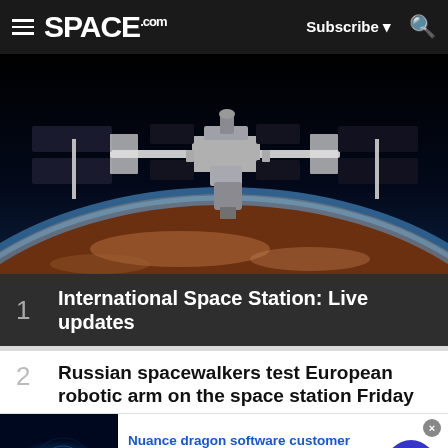SPACE.com — Subscribe — Search
[Figure (photo): The International Space Station photographed from below against Earth's surface showing reddish-brown terrain and blue atmosphere. The ISS structure with solar panels is clearly visible.]
1  International Space Station: Live updates
2  Russian spacewalkers test European robotic arm on the space station Friday
[Figure (photo): Advertisement thumbnail showing a hand touching a glowing blue surface, for Nuance dragon software customer care.]
Nuance dragon software customer care
visit nuancesupport.com/ to learn more
www.nuancesupport.com